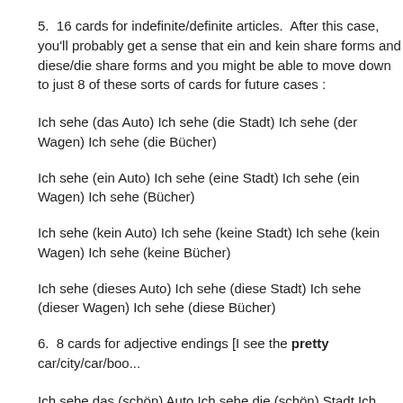5.  16 cards for indefinite/definite articles.  After this case, you'll probably get a sense that ein and kein share forms and diese/die share forms and you might be able to move down to just 8 of these sorts of cards for future cases :
Ich sehe (das Auto) Ich sehe (die Stadt) Ich sehe (der Wagen) Ich sehe (die Bücher)
Ich sehe (ein Auto) Ich sehe (eine Stadt) Ich sehe (ein Wagen) Ich sehe (Bücher)
Ich sehe (kein Auto) Ich sehe (keine Stadt) Ich sehe (kein Wagen) Ich sehe (keine Bücher)
Ich sehe (dieses Auto) Ich sehe (diese Stadt) Ich sehe (dieser Wagen) Ich sehe (diese Bücher)
6.  8 cards for adjective endings [I see the pretty car/city/car/boo...
Ich sehe das (schön) Auto Ich sehe die (schön) Stadt Ich sehe de... (schön) Wagen Ich sehe die (schön) Bücher